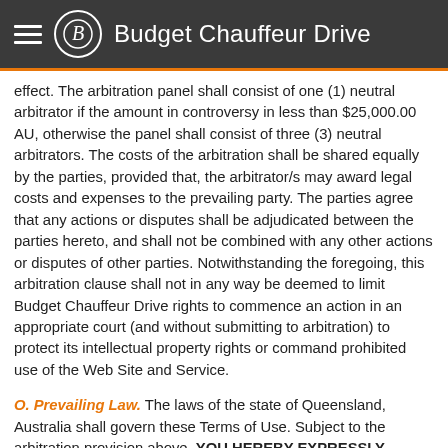Budget Chauffeur Drive
effect. The arbitration panel shall consist of one (1) neutral arbitrator if the amount in controversy in less than $25,000.00 AU, otherwise the panel shall consist of three (3) neutral arbitrators. The costs of the arbitration shall be shared equally by the parties, provided that, the arbitrator/s may award legal costs and expenses to the prevailing party. The parties agree that any actions or disputes shall be adjudicated between the parties hereto, and shall not be combined with any other actions or disputes of other parties. Notwithstanding the foregoing, this arbitration clause shall not in any way be deemed to limit Budget Chauffeur Drive rights to commence an action in an appropriate court (and without submitting to arbitration) to protect its intellectual property rights or command prohibited use of the Web Site and Service.
O. Prevailing Law. The laws of the state of Queensland, Australia shall govern these Terms of Use. Subject to the arbitration provision above, YOU HEREBY EXPRESSLY CONSENT TO EXCLUSIVE JURISDICTION AND VENUE IN